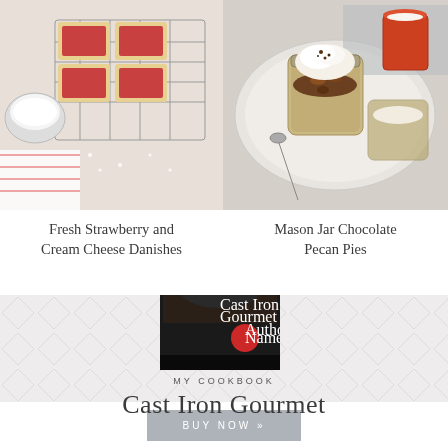[Figure (photo): Overhead view of fresh strawberry and cream cheese danishes on a cooling rack with powdered sugar nearby and a red striped cloth]
[Figure (photo): Overhead view of mason jar chocolate pecan pies with whipped cream on top, arranged on a white plate with spoons and a cup of milk]
Fresh Strawberry and Cream Cheese Danishes
Mason Jar Chocolate Pecan Pies
[Figure (photo): Book cover of Cast Iron Gourmet cookbook showing a dessert with whipped cream in a cast iron skillet]
MY COOKBOOK
Cast Iron Gourmet
BUY NOW »